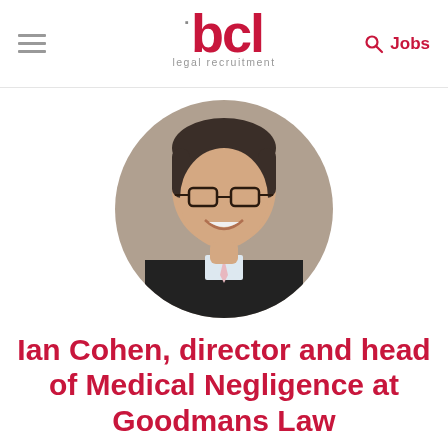BCL legal recruitment — Jobs
[Figure (photo): Circular headshot photo of Ian Cohen, a middle-aged man with short dark hair, wearing glasses, smiling, dressed in a dark suit with a light pink tie.]
Ian Cohen, director and head of Medical Negligence at Goodmans Law